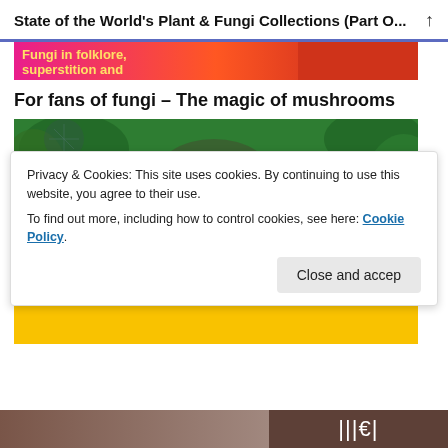State of the World's Plant & Fungi Collections (Part O...
[Figure (photo): Partial top image strip showing a colorful book cover with pink/orange/red background and yellow text partially visible: 'Fungi in folklore, superstition and']
For fans of fungi – The magic of mushrooms
[Figure (photo): Book cover for 'Planting Clues' with green background featuring nature/leaf imagery, large white text 'Planting' and large black text 'CLUES' on a yellow background]
Privacy & Cookies: This site uses cookies. By continuing to use this website, you agree to their use.
To find out more, including how to control cookies, see here: Cookie Policy
[Figure (photo): Partial bottom image strip showing brown/wooden textures and vertical bar/pipe shapes on the right side]